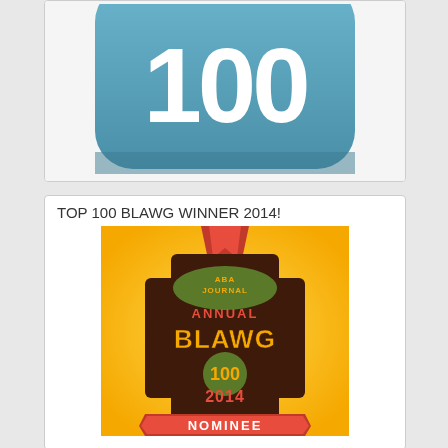[Figure (logo): Partial view of a teal/blue rounded rectangle badge with '100' text, cropped at top of page]
TOP 100 BLAWG WINNER 2014!
[Figure (illustration): ABA Journal Annual Blawg 100 2014 Nominee badge/medal on orange/yellow background with red ribbon at top and nominee banner at bottom]